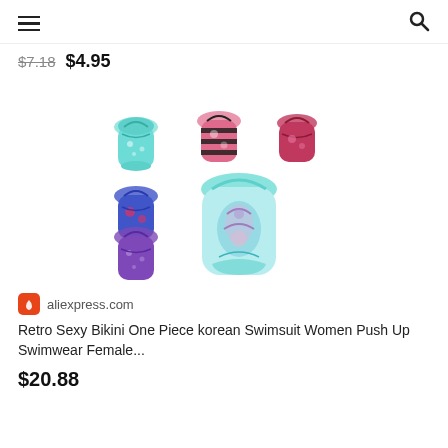≡  🔍
$7.18  $4.95
[Figure (photo): Product image showing multiple colorful one-piece swimsuits in various patterns: teal floral, black striped with pink floral, red/pink, blue/red abstract, purple/blue galaxy, and a large center teal/pink ornate one-piece swimsuit.]
aliexpress.com
Retro Sexy Bikini One Piece korean Swimsuit Women Push Up Swimwear Female...
$20.88